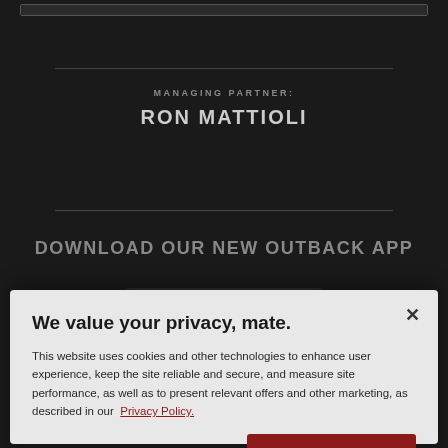MANAGING PARTNER:
RON MATTIOLI
DOWNLOAD OUR NEW OUTBACK APP
We value your privacy, mate.
This website uses cookies and other technologies to enhance user experience, keep the site reliable and secure, and measure site performance, as well as to present relevant offers and other marketing, as described in our Privacy Policy.
Customize Settings
Accept Cookies